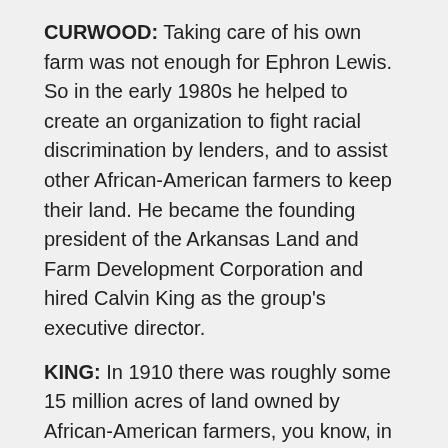CURWOOD: Taking care of his own farm was not enough for Ephron Lewis. So in the early 1980s he helped to create an organization to fight racial discrimination by lenders, and to assist other African-American farmers to keep their land. He became the founding president of the Arkansas Land and Farm Development Corporation and hired Calvin King as the group's executive director.
KING: In 1910 there was roughly some 15 million acres of land owned by African-American farmers, you know, in the United States. That has declined to roughly some 4-million acres or less than that now. And predictions are that by the year 2000 or by the year 2005 that there will be a total disappearance of black farmers in the country.
CURWOOD: Mr. King and I chatted on the grounds of the Arkansas Land and Farm Development Corporation, about a hundred miles south of Little Rock. There are the...